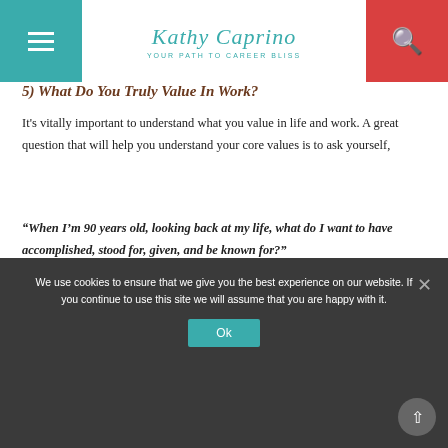Kathy Caprino - Your Path to Career Bliss
5) What Do You Truly Value In Work?
It's vitally important to understand what you value in life and work.  A great question that will help you understand your core values is to ask yourself,
“When I’m 90 years old, looking back at my life, what do I want to have accomplished, stood for, given, and be known for?”
Think about your deepest values, and if you’re honoring them today. If not, why not?
We use cookies to ensure that we give you the best experience on our website. If you continue to use this site we will assume that you are happy with it.